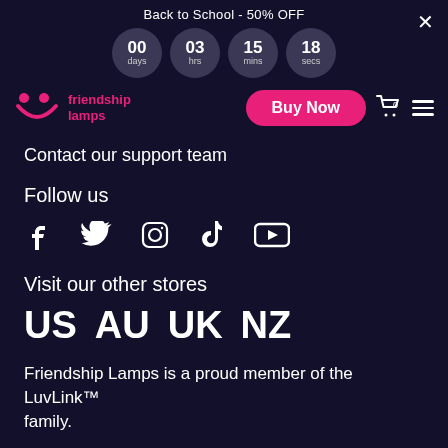Back to School - 50% OFF
[Figure (infographic): Countdown timer showing 00 days, 03 hrs, 15 mins, 18 secs in circular gray badges]
[Figure (logo): Friendship Lamps logo with smiley face icon in pink]
Buy Now
Contact our support team
Follow us
[Figure (infographic): Social media icons: Facebook, Twitter, Instagram, TikTok, YouTube]
Visit our other stores
US  AU  UK  NZ
Friendship Lamps is a proud member of the LuvLink™ family.